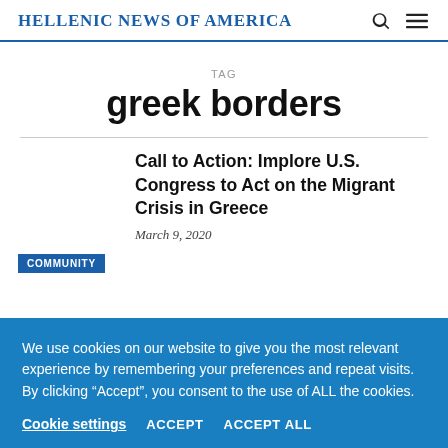Hellenic News of America
TAG
greek borders
Call to Action: Implore U.S. Congress to Act on the Migrant Crisis in Greece
March 9, 2020
COMMUNITY
We use cookies on our website to give you the most relevant experience by remembering your preferences and repeat visits. By clicking “Accept”, you consent to the use of ALL the cookies.
Cookie settings   ACCEPT   ACCEPT ALL